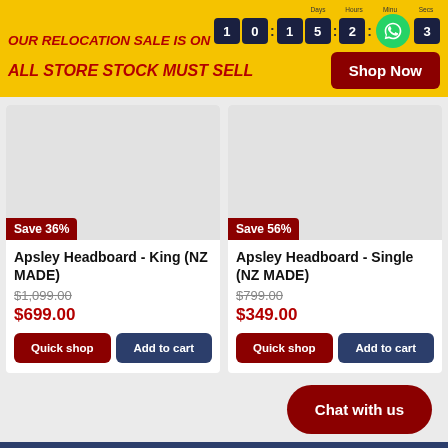OUR RELOCATION SALE IS ON 10 : 15 : 2 : 3
ALL STORE STOCK MUST SELL
Shop Now
[Figure (other): Product image placeholder for Apsley Headboard - King (NZ MADE)]
Save 36%
Apsley Headboard - King (NZ MADE)
$1,099.00
$699.00
Quick shop
Add to cart
[Figure (other): Product image placeholder for Apsley Headboard - Single (NZ MADE)]
Save 56%
Apsley Headboard - Single (NZ MADE)
$799.00
$349.00
Quick shop
Add to cart
Chat with us